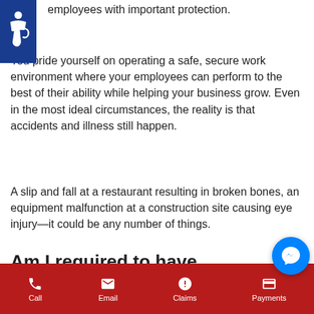employees with important protection.
You pride yourself on operating a safe, secure work environment where your employees can perform to the best of their ability while helping your business grow. Even in the most ideal circumstances, the reality is that accidents and illness still happen.
A slip and fall at a restaurant resulting in broken bones, an equipment malfunction at a construction site causing eye injury—it could be any number of things.
Am I required to have Workers' Compensation Insurance?
Call | Email | Claims | Payments